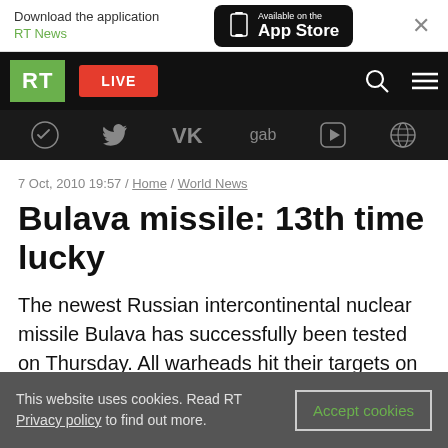Download the application RT News — Available on the App Store
[Figure (screenshot): RT News website navigation bar with RT logo, LIVE button, search and menu icons]
[Figure (screenshot): Social media icons bar: Telegram, Twitter, VK, gab, Rumble, and another icon]
7 Oct, 2010 19:57 / Home / World News
Bulava missile: 13th time lucky
The newest Russian intercontinental nuclear missile Bulava has successfully been tested on Thursday. All warheads hit their targets on Kamchatka Peninsula.
This website uses cookies. Read RT Privacy policy to find out more. Accept cookies